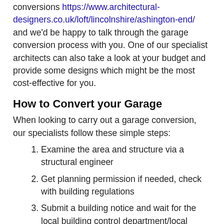conversions https://www.architectural-designers.co.uk/loft/lincolnshire/ashington-end/ and we'd be happy to talk through the garage conversion process with you. One of our specialist architects can also take a look at your budget and provide some designs which might be the most cost-effective for you.
How to Convert your Garage
When looking to carry out a garage conversion, our specialists follow these simple steps:
1. Examine the area and structure via a structural engineer
2. Get planning permission if needed, check with building regulations
3. Submit a building notice and wait for the local building control department/local authority to respond
4. Design the garage to suit you.
5. Build the structure.
6. Decorate and design the garage to suit you.
As garage conversion specialists, we have years of experience and